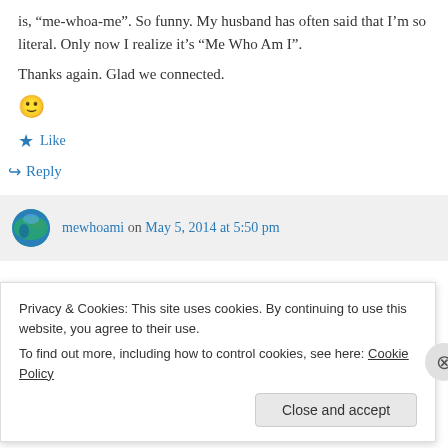is, “me-whoa-me”. So funny. My husband has often said that I’m so literal. Only now I realize it’s “Me Who Am I”.
Thanks again. Glad we connected.
🙂
★ Like
↪ Reply
mewhoami on May 5, 2014 at 5:50 pm
Privacy & Cookies: This site uses cookies. By continuing to use this website, you agree to their use.
To find out more, including how to control cookies, see here: Cookie Policy
Close and accept